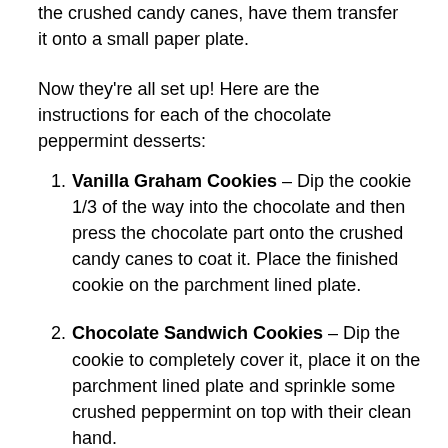the crushed candy canes, have them transfer it onto a small paper plate.
Now they're all set up! Here are the instructions for each of the chocolate peppermint desserts:
Vanilla Graham Cookies – Dip the cookie 1/3 of the way into the chocolate and then press the chocolate part onto the crushed candy canes to coat it. Place the finished cookie on the parchment lined plate.
Chocolate Sandwich Cookies – Dip the cookie to completely cover it, place it on the parchment lined plate and sprinkle some crushed peppermint on top with their clean hand.
Coated Candy Canes – Dip the candy cane that